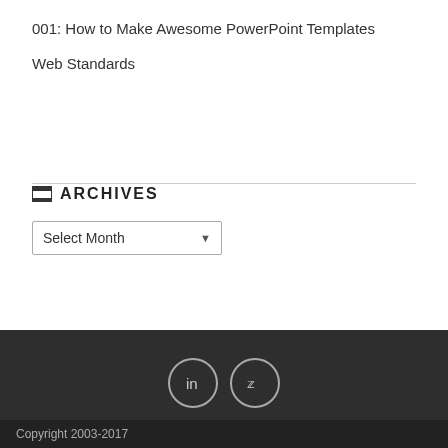001: How to Make Awesome PowerPoint Templates
Web Standards
ARCHIVES
Select Month
[Figure (other): LinkedIn and Twitter social media icon circles in footer]
Copyright 2003-2017